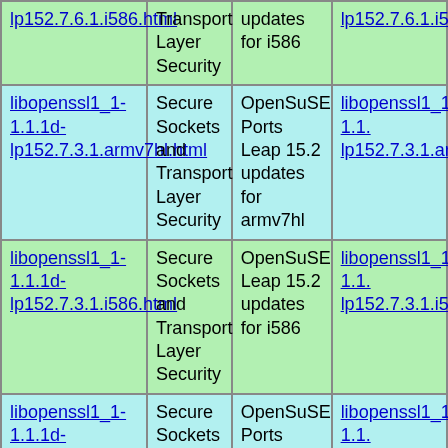| Package | Description | Summary | Link |
| --- | --- | --- | --- |
| lp152.7.6.1.i586.html | Transport Layer Security | updates for i586 | lp152.7.6.1.i586. |
| libopenssl1_1-1.1.1d-lp152.7.3.1.armv7hl.html | Secure Sockets and Transport Layer Security | OpenSuSE Ports Leap 15.2 updates for armv7hl | libopenssl1_1-1.1.1d-lp152.7.3.1.armv... |
| libopenssl1_1-1.1.1d-lp152.7.3.1.i586.html | Secure Sockets and Transport Layer Security | OpenSuSE Leap 15.2 updates for i586 | libopenssl1_1-1.1.1d-lp152.7.3.1.i586. |
| libopenssl1_1-1.1.1d-lp152.6.1.armv7hl.html | Secure Sockets and Transport Layer Security | OpenSuSE Ports Leap 15.2 for armv7hl | libopenssl1_1-1.1.1d-lp152.6.1.armv7h... |
| libopenssl1_1-1.32bit... | Secure Sockets | OpenSuSE... | libopenssl1_1-1.32b... |